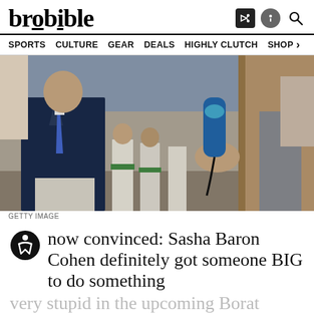brobible
SPORTS  CULTURE  GEAR  DEALS  HIGHLY CLUTCH  SHOP
[Figure (photo): A person in a navy suit with a blue tie holding a microphone amid a crowd of people dressed in white, outdoors at what appears to be a public event. A hand extends a microphone from the right side. GETTY IMAGE caption below.]
GETTY IMAGE
now convinced: Sasha Baron Cohen definitely got someone BIG to do something very stupid in the upcoming Borat sequel. I just don't see how anything else but that